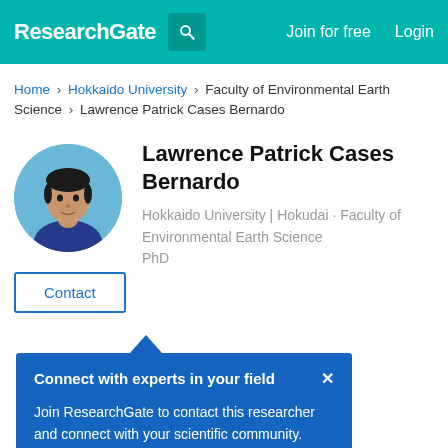ResearchGate | Join for free | Login
Home > Hokkaido University > Faculty of Environmental Earth Science > Lawrence Patrick Cases Bernardo
[Figure (photo): Circular profile photo of Lawrence Patrick Cases Bernardo, a man wearing a dark shirt against a light blue background]
Lawrence Patrick Cases Bernardo
Hokkaido University | Hokudai · Faculty of Environmental Earth Science
PhD
Contact
Connect with experts in your field ×
Join ResearchGate to contact this researcher and connect with your scientific community.